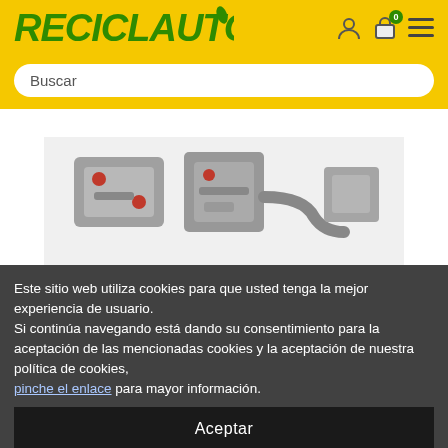[Figure (logo): RECICLAUTO logo in italic bold green text on yellow background, with a small leaf/flame icon, accompanied by person icon, shopping cart icon with 0 badge, and hamburger menu icon]
Buscar
[Figure (photo): Auto parts / hydraulic valve assembly components photographed against white background]
Este sitio web utiliza cookies para que usted tenga la mejor experiencia de usuario.
Si continúa navegando está dando su consentimiento para la aceptación de las mencionadas cookies y la aceptación de nuestra política de cookies,
pinche el enlace para mayor información.
Aceptar
[Figure (photo): Thumbnail images of auto parts at the bottom of the page]